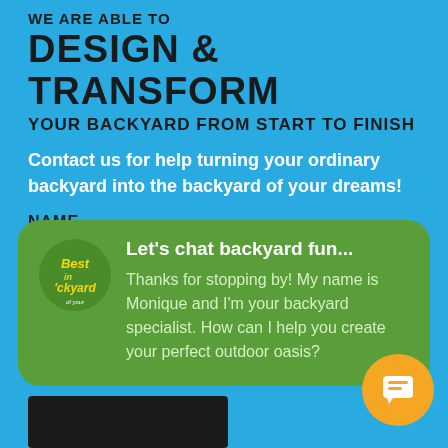WE ARE ABLE TO
DESIGN & TRANSFORM
YOUR BACKYARD FROM START TO FINISH
Contact us for help turning your ordinary backyard into the backyard of your dreams!
NAME
[Figure (infographic): Green rounded chat bubble with Best in Backyard logo and chat message from Monique: Let's chat backyard fun... Thanks for stopping by! My name is Monique and I'm your backyard specialist. How can I help you create your perfect outdoor oasis?]
EMAIL
Submit button (partially visible)